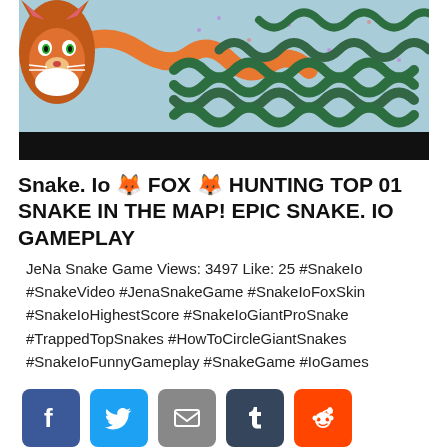[Figure (screenshot): Snake.io game screenshot showing a fox-skin snake and many green snakes on a light blue/teal background, with a black bar at the bottom]
Snake. Io 🦊 FOX 🦊 HUNTING TOP 01 SNAKE IN THE MAP! EPIC SNAKE. IO GAMEPLAY
JeNa Snake Game Views: 3497 Like: 25 #SnakeIo #SnakeVideo #JenaSnakeGame #SnakeIoFoxSkin #SnakeIoHighestScore #SnakeIoGiantProSnake #TrappedTopSnakes #HowToCircleGiantSnakes #SnakeIoFunnyGameplay #SnakeGame #IoGames
[Figure (infographic): Social sharing buttons: Facebook (blue), Twitter (light blue), Email (grey), Tumblr (dark slate), Reddit (orange)]